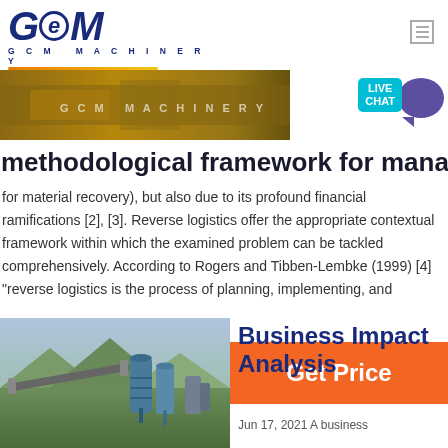[Figure (logo): GCM Machinery logo with italic stylized text and orange underline]
[Figure (photo): Banner photo of GCM Machinery industrial equipment]
[Figure (infographic): Live Chat bubble icon in teal and purple]
methodological framework for managing
for material recovery), but also due to its profound financial ramifications [2], [3]. Reverse logistics offer the appropriate contextual framework within which the examined problem can be tackled comprehensively. According to Rogers and Tibben-Lembke (1999) [4] "reverse logistics is the process of planning, implementing, and
[Figure (other): Get Price orange button]
[Figure (photo): Photo of industrial mining or processing machinery outdoors]
Business Impact Analysis
Jun 17, 2021 A business